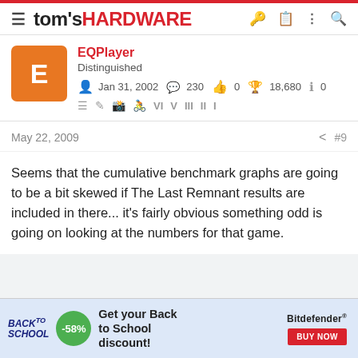tom's HARDWARE
EQPlayer
Distinguished
Jan 31, 2002   230   0   18,680   0
May 22, 2009   #9
Seems that the cumulative benchmark graphs are going to be a bit skewed if The Last Remnant results are included in there... it's fairly obvious something odd is going on looking at the numbers for that game.
[Figure (infographic): Back to School advertisement banner with -58% discount badge, 'Get your Back to School discount!' text, and Bitdefender BUY NOW button]